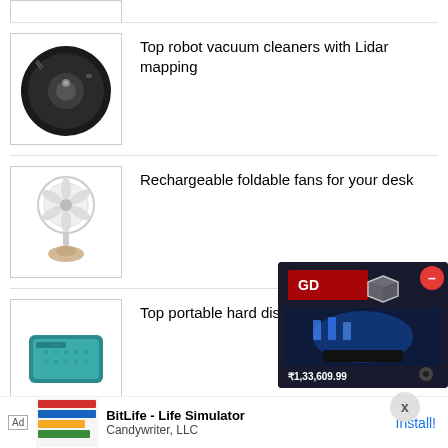[Figure (photo): Partial thumbnail at top of page (cropped)]
Top robot vacuum cleaners with Lidar mapping
[Figure (photo): Black robot vacuum cleaner product image]
Rechargeable foldable fans for your desk
[Figure (photo): White rechargeable foldable desk fan product image]
Top portable hard disk drives to consider
[Figure (photo): Teal portable hard disk drive product image]
[Figure (photo): Overlaid game advertisement box showing a gaming product with price ₹1,33,609.99 and a red close button]
Ad  BitLife - Life Simulator
Candywriter, LLC
Install!